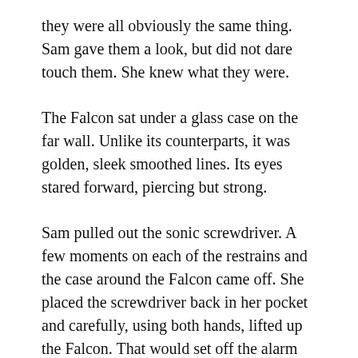they were all obviously the same thing. Sam gave them a look, but did not dare touch them. She knew what they were.
The Falcon sat under a glass case on the far wall. Unlike its counterparts, it was golden, sleek smoothed lines. Its eyes stared forward, piercing but strong.
Sam pulled out the sonic screwdriver. A few moments on each of the restrains and the case around the Falcon came off. She placed the screwdriver back in her pocket and carefully, using both hands, lifted up the Falcon. That would set off the alarm downstairs.